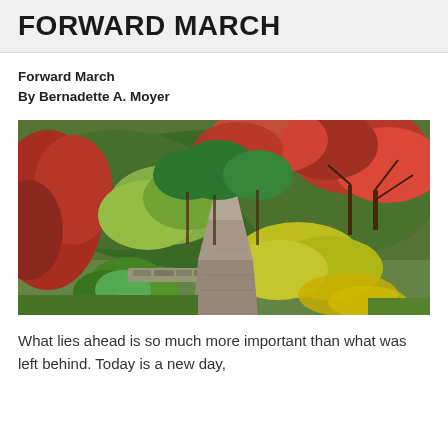FORWARD MARCH
Forward March
By Bernadette A. Moyer
[Figure (photo): A colorful autumn garden path lined with red, yellow, and green Japanese maple trees and shrubs, with a stone walkway leading into the distance.]
What lies ahead is so much more important than what was left behind. Today is a new day,